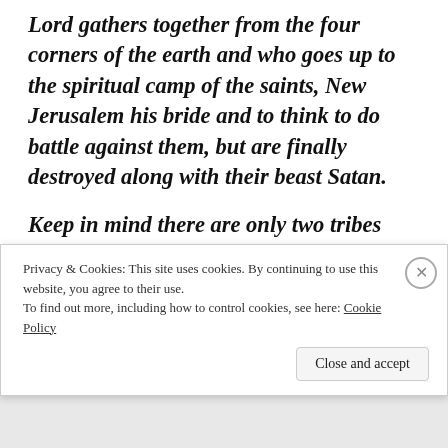Lord gathers together from the four corners of the earth and who goes up to the spiritual camp of the saints, New Jerusalem his bride and to think to do battle against them, but are finally destroyed along with their beast Satan.
Keep in mind there are only two tribes warring for power, the North and the South, they have control of Israel and the USA, their power struggle continuously being handed back and forth from one to the other. The Dems to the
Privacy & Cookies: This site uses cookies. By continuing to use this website, you agree to their use.
To find out more, including how to control cookies, see here: Cookie Policy
Close and accept